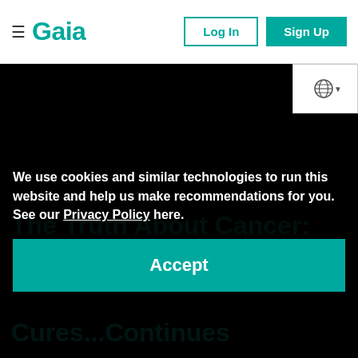≡ Gaia | Log In | Sign Up
[Figure (screenshot): Globe/language selector icon with dropdown arrow in white box]
[Figure (photo): Black background video thumbnail area]
The Truth About Cancer:
The Truth About Cancer: A Global Quest: The True History of Chemo & the Pharmaceutical Monopoly on Cancer...Continues
We use cookies and similar technologies to run this website and help us make recommendations for you. See our Privacy Policy here.
Accept